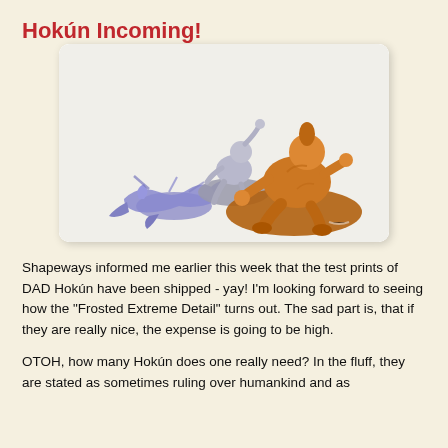Hokún Incoming!
[Figure (photo): Three 3D printed miniature figures: a silver/grey humanoid crouching figure on a base, a large bronze/orange humanoid figure crouching on a large oval base, and a purple/lavender skeletal or weapon-like fragmented figure lying flat.]
Shapeways informed me earlier this week that the test prints of DAD Hokún have been shipped - yay! I'm looking forward to seeing how the "Frosted Extreme Detail" turns out. The sad part is, that if they are really nice, the expense is going to be high.
OTOH, how many Hokún does one really need? In the fluff, they are stated as sometimes ruling over humankind and as